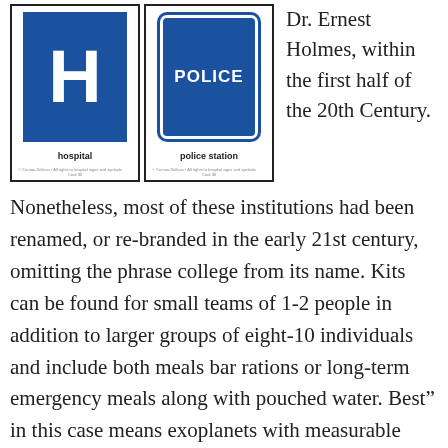[Figure (illustration): Two sign cards side by side: left card shows a blue square with white letter H and label 'hospital'; right card shows a blue rounded rectangle reading 'POLICE' with label 'police station']
Dr. Ernest Holmes, within the first half of the 20th Century.
Nonetheless, most of these institutions had been renamed, or re-branded in the early 21st century, omitting the phrase college from its name. Kits can be found for small teams of 1-2 people in addition to larger groups of eight-10 individuals and include both meals bar rations or long-term emergency meals along with pouched water. Best” in this case means exoplanets with measurable plenty, in addition